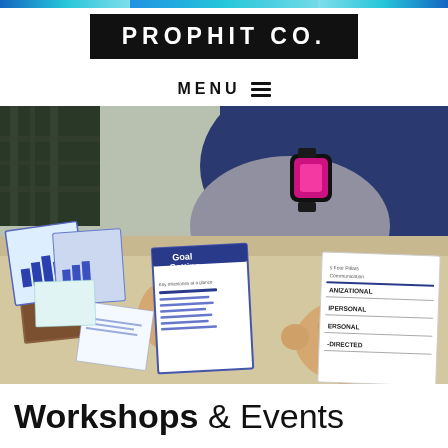PROPHIT CO.
MENU
[Figure (photo): Two people at a table reviewing printed workshop materials including 'Goal Setting' and 'Four Pillars of Communication' documents. A hand points at the papers. One person wearing an Apple Watch and dark blue denim.]
Workshops & Events